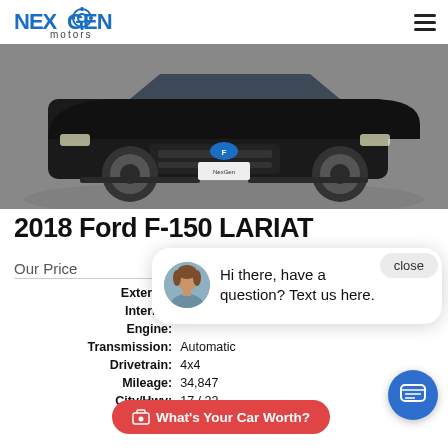NexGen Motors
[Figure (photo): Black Ford F-150 truck photographed in a studio/showroom setting, front 3/4 view]
2018 Ford F-150 LARIAT
Our Price
| Exterior: |  |
| Interior: |  |
| Engine: |  |
| Transmission: | Automatic |
| Drivetrain: | 4x4 |
| Mileage: | 34,847 |
| City/Hwy: | 17 / 22 |
| VIN: |  |
Hi there, have a question? Text us here.
close
What's Your Car Worth?